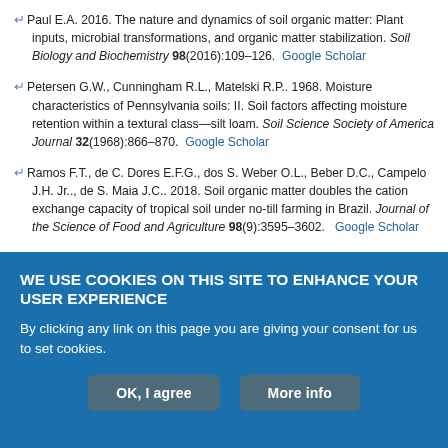Paul E.A. 2016. The nature and dynamics of soil organic matter: Plant inputs, microbial transformations, and organic matter stabilization. Soil Biology and Biochemistry 98(2016):109–126. Google Scholar
Petersen G.W., Cunningham R.L., Matelski R.P.. 1968. Moisture characteristics of Pennsylvania soils: II. Soil factors affecting moisture retention within a textural class—silt loam. Soil Science Society of America Journal 32(1968):866–870. Google Scholar
Ramos F.T., de C. Dores E.F.G., dos S. Weber O.L., Beber D.C., Campelo J.H. Jr.., de S. Maia J.C.. 2018. Soil organic matter doubles the cation exchange capacity of tropical soil under no-till farming in Brazil. Journal of the Science of Food and Agriculture 98(9):3595–3602. Google Scholar
Reeves D.W. 1997. The role of soil organic matter in maintaining soil
WE USE COOKIES ON THIS SITE TO ENHANCE YOUR USER EXPERIENCE
By clicking any link on this page you are giving your consent for us to set cookies.